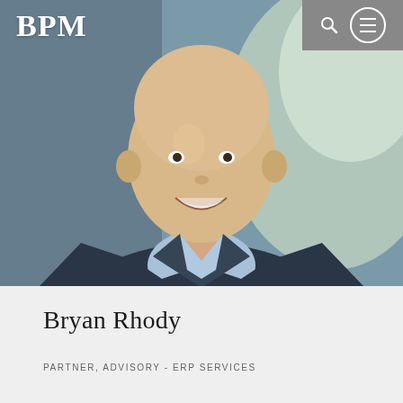BPM
[Figure (photo): Professional headshot of Bryan Rhody, a bald white man smiling, wearing a navy blazer over a light blue dress shirt, photographed in an office setting with blurred green/white background]
Bryan Rhody
PARTNER, ADVISORY - ERP SERVICES